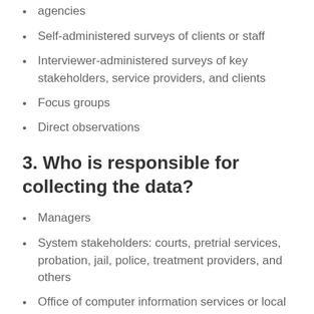agencies
Self-administered surveys of clients or staff
Interviewer-administered surveys of key stakeholders, service providers, and clients
Focus groups
Direct observations
3. Who is responsible for collecting the data?
Managers
System stakeholders: courts, pretrial services, probation, jail, police, treatment providers, and others
Office of computer information services or local information technology (IT)/data management group/department